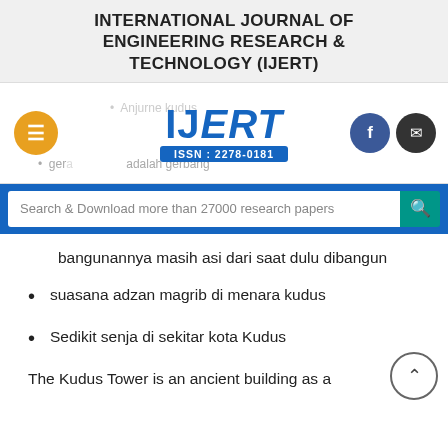INTERNATIONAL JOURNAL OF ENGINEERING RESEARCH & TECHNOLOGY (IJERT)
[Figure (logo): IJERT logo with ISSN : 2278-0181, navigation icons including hamburger menu, Facebook and email buttons, and partially visible bullet list items]
[Figure (other): Search bar with text 'Search & Download more than 27000 research papers' and a teal search button]
bangunannya masih asi dari saat dulu dibangun
suasana adzan magrib di menara kudus
Sedikit senja di sekitar kota Kudus
The Kudus Tower is an ancient building as a